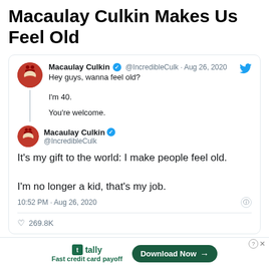Macaulay Culkin Makes Us Feel Old
[Figure (screenshot): Screenshot of a Twitter/X post by Macaulay Culkin (@IncredibleCulk) dated Aug 26, 2020. The tweet reads: 'Hey guys, wanna feel old? / I'm 40. / You're welcome.' with a reply showing 'It’s my gift to the world: I make people feel old. / I’m no longer a kid, that’s my job.' Posted at 10:52 PM · Aug 26, 2020 with 269.8K likes.]
Twitter / IncredibleCulk